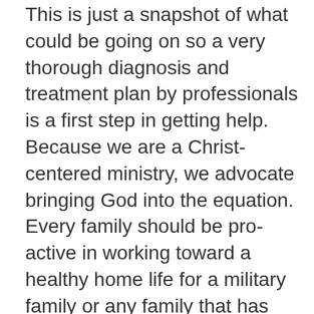This is just a snapshot of what could be going on so a very thorough diagnosis and treatment plan by professionals is a first step in getting help. Because we are a Christ-centered ministry, we advocate bringing God into the equation. Every family should be pro-active in working toward a healthy home life for a military family or any family that has suffered trauma of some sort.
A next step is to turn to God for understanding, clarity and hope found in the Bible and Bible-believing churches where fellow Christians can come alongside you as you walk through the healing process. It is important to reach out to